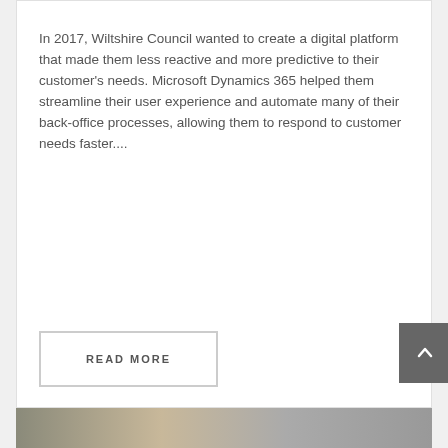In 2017, Wiltshire Council wanted to create a digital platform that made them less reactive and more predictive to their customer's needs. Microsoft Dynamics 365 helped them streamline their user experience and automate many of their back-office processes, allowing them to respond to customer needs faster....
READ MORE
[Figure (photo): Partial photo strip visible at bottom of page showing people]